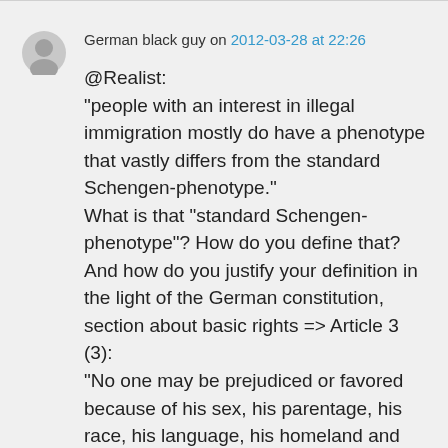German black guy on 2012-03-28 at 22:26
@Realist:
"people with an interest in illegal immigration mostly do have a phenotype that vastly differs from the standard Schengen-phenotype."
What is that "standard Schengen-phenotype"? How do you define that? And how do you justify your definition in the light of the German constitution, section about basic rights => Article 3 (3):
"No one may be prejudiced or favored because of his sex, his parentage, his race, his language, his homeland and origin, his